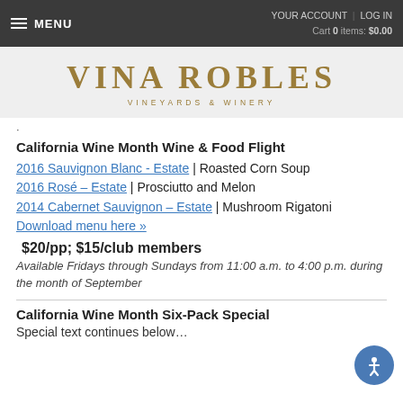MENU | YOUR ACCOUNT | LOG IN | Cart 0 items: $0.00
[Figure (logo): Vina Robles Vineyards & Winery logo in gold text on light gray background]
·
California Wine Month Wine & Food Flight
2016 Sauvignon Blanc - Estate | Roasted Corn Soup
2016 Rosé – Estate | Prosciutto and Melon
2014 Cabernet Sauvignon – Estate | Mushroom Rigatoni
Download menu here »
$20/pp; $15/club members
Available Fridays through Sundays from 11:00 a.m. to 4:00 p.m. during the month of September
California Wine Month Six-Pack Special
Special text continues below...